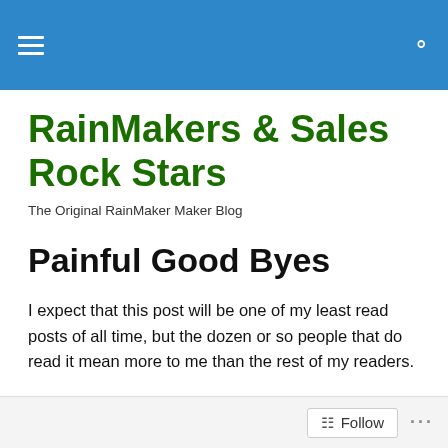RainMakers & Sales Rock Stars
The Original RainMaker Maker Blog
Painful Good Byes
I expect that this post will be one of my least read posts of all time, but the dozen or so people that do read it mean more to me than the rest of my readers.
Today was the first day of Inbound2012. I didn't plan on
Follow